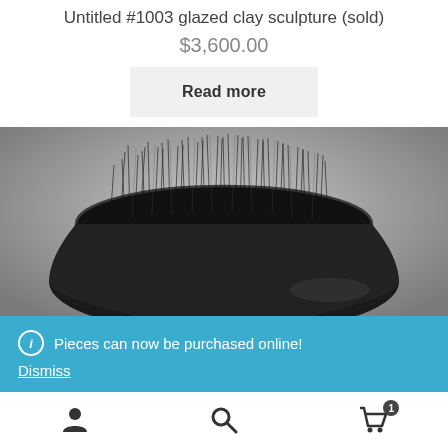Untitled #1003 glazed clay sculpture (sold)
$3,600.00
Read more
[Figure (photo): Black glazed clay bowl sculpture with many thin dark spikes or needles protruding upward from inside the bowl, photographed against a grey gradient background.]
Pieces can now be purchased online!
Dismiss